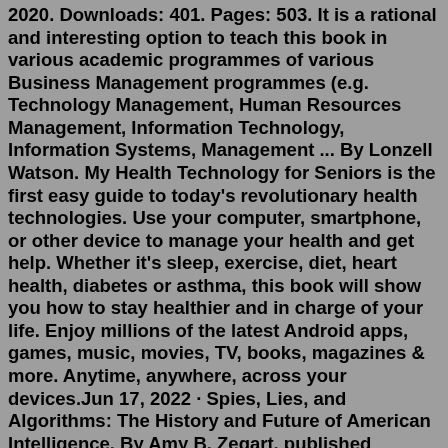2020. Downloads: 401. Pages: 503. It is a rational and interesting option to teach this book in various academic programmes of various Business Management programmes (e.g. Technology Management, Human Resources Management, Information Technology, Information Systems, Management ... By Lonzell Watson. My Health Technology for Seniors is the first easy guide to today's revolutionary health technologies. Use your computer, smartphone, or other device to manage your health and get help. Whether it's sleep, exercise, diet, heart health, diabetes or asthma, this book will show you how to stay healthier and in charge of your life. Enjoy millions of the latest Android apps, games, music, movies, TV, books, magazines & more. Anytime, anywhere, across your devices.Jun 17, 2022 · Spies, Lies, and Algorithms: The History and Future of American Intelligence. By Amy B. Zegart, published February 1, 2022. Spanning a history from George Washington and the Revolutionary War to ... We buy back technology and engineering books all